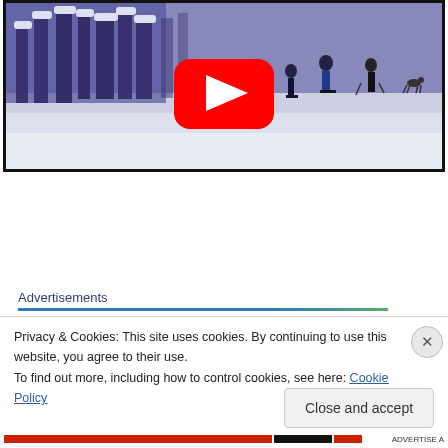[Figure (screenshot): YouTube video thumbnail showing people cross-country skiing on a snowy landscape with snow-covered trees in the background. A red YouTube play button is centered on the image.]
Advertisements
Privacy & Cookies: This site uses cookies. By continuing to use this website, you agree to their use.
To find out more, including how to control cookies, see here: Cookie Policy